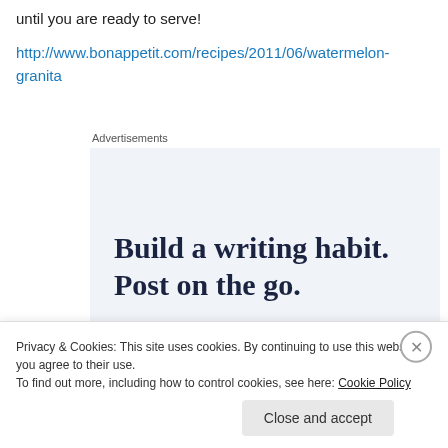until you are ready to serve!
http://www.bonappetit.com/recipes/2011/06/watermelon-granita
Advertisements
[Figure (infographic): Advertisement banner with text: Build a writing habit. Post on the go.]
Privacy & Cookies: This site uses cookies. By continuing to use this website, you agree to their use.
To find out more, including how to control cookies, see here: Cookie Policy
Close and accept